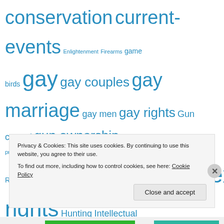conservation current-events Enlightenment Firearms game birds gay gay couples gay marriage gay men gay rights Gun control gun ownership Gun owners rights gun prohibitionists Gun Rights Hera History Homophobia homosexuality homosexuals human-rights Hunting Intellectual freedom Islam law and legislation lgbt Liberal Party of Canada Mallard mallards marriage equality Marsh nature nature
Privacy & Cookies: This site uses cookies. By continuing to use this website, you agree to their use. To find out more, including how to control cookies, see here: Cookie Policy
Close and accept